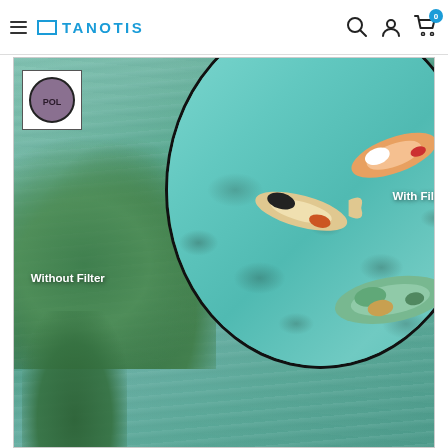TANOTIS
[Figure (photo): Comparison photo of a pond with koi fish. Left side labeled 'Without Filter' shows murky water with reflections. Right side shown through a circular lens labeled 'With Filter' shows clear water with visible koi fish and underwater stones. A purple polarizing filter icon labeled 'POL' appears in the top-left corner of the image.]